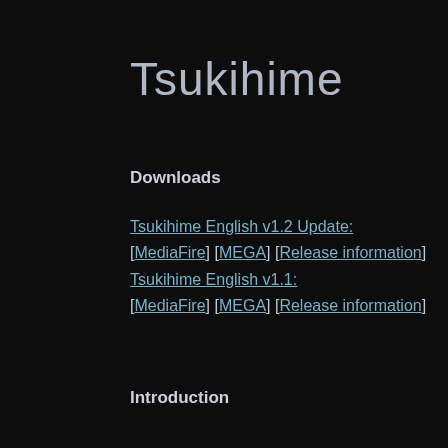Tsukihime
Downloads
Tsukihime English v1.2 Update:
[MediaFire] [MEGA] [Release information]
Tsukihime English v1.1:
[MediaFire] [MEGA] [Release information]
Introduction
Tsukihime is a doujin visual novel, released in December 2000 by TYPE-MOON. It tells the story of Tohno Shiki, who since a life-threatening accident in his youth is cursed with the ability to see "lines" on everything around him. Lines along which objects can easily be cut.
Having lived with foster parents for seven years, Shiki is recalled to the household of his family. He had lost all contact with his family over this entire period, making it difficult for him to get used to the new situation. As he gradually learns more about his past, the situation